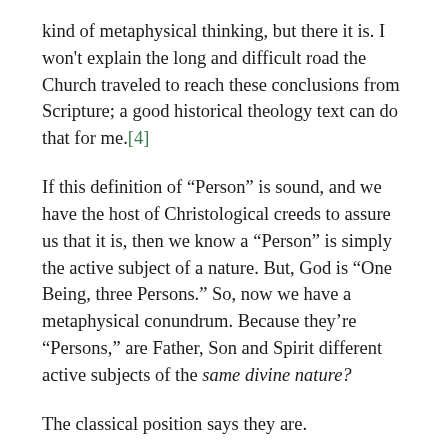kind of metaphysical thinking, but there it is. I won't explain the long and difficult road the Church traveled to reach these conclusions from Scripture; a good historical theology text can do that for me.[4]
If this definition of “Person” is sound, and we have the host of Christological creeds to assure us that it is, then we know a “Person” is simply the active subject of a nature. But, God is “One Being, three Persons.” So, now we have a metaphysical conundrum. Because they’re “Persons,” are Father, Son and Spirit different active subjects of the same divine nature?
The classical position says they are.
The Church says Father, Son and Spirit share the same nature, meaning The Nicene Creed...